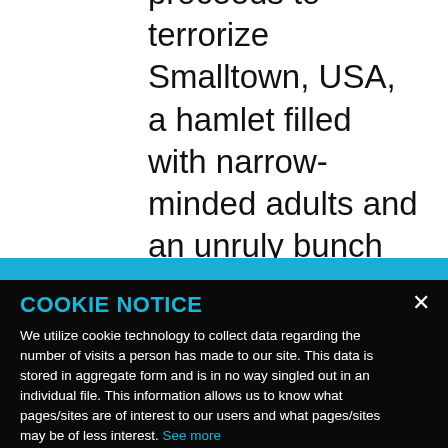proceeds to terrorize Smalltown, USA, a hamlet filled with narrow-minded adults and an unruly bunch of kids that is basically rebelling without a cause
COOKIE NOTICE
We utilize cookie technology to collect data regarding the number of visits a person has made to our site. This data is stored in aggregate form and is in no way singled out in an individual file. This information allows us to know what pages/sites are of interest to our users and what pages/sites may be of less interest. See more